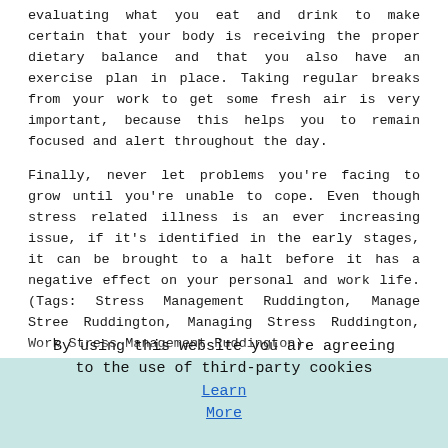evaluating what you eat and drink to make certain that your body is receiving the proper dietary balance and that you also have an exercise plan in place. Taking regular breaks from your work to get some fresh air is very important, because this helps you to remain focused and alert throughout the day.
Finally, never let problems you're facing to grow until you're unable to cope. Even though stress related illness is an ever increasing issue, if it's identified in the early stages, it can be brought to a halt before it has a negative effect on your personal and work life. (Tags: Stress Management Ruddington, Manage Stree Ruddington, Managing Stress Ruddington, Work Stress Management Ruddington).
Ways to Cope With Stress
Stress is one thing that will pretty much effect every person to various levels in some point in their lives. Different things will effect different folks in different ways, so what may cause some individuals stress will not cause other individuals stress. You will notice that many people will become stressed as a result of money issues.
By using this website you are agreeing to the use of third-party cookies Learn More  OK